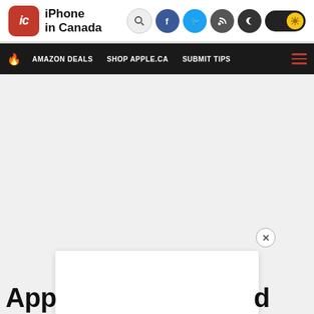iPhone in Canada
AMAZON DEALS   SHOP APPLE.CA   SUBMIT TIPS
[Figure (screenshot): Large blank ad/content area in the middle of the page]
App... d